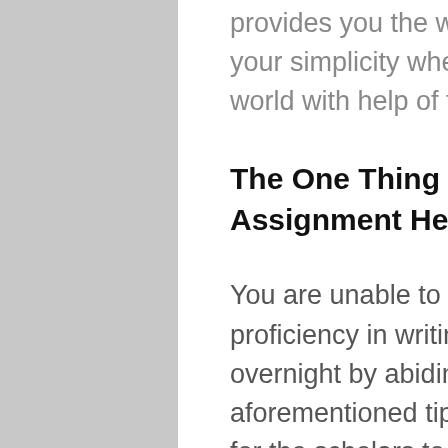provides you the way of learning at your simplicity whenever over the world with help of the net.
The One Thing to Do for Assignment Help Academic
You are unable to obtain proficiency in writing assignments overnight by abiding by the aforementioned tips. It's mandatory for the scholars to attain great grades in their assignments since it's for their whole academic calendar year. Then our writers can quickly begin